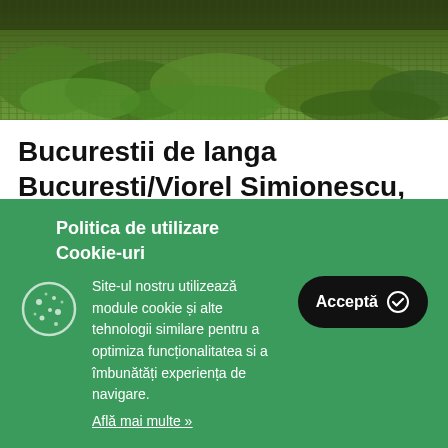[Figure (photo): Aerial or ground-level view of green fields/forest landscape, dark foliage]
Bucurestii de langa Bucuresti/Viorel Simionescu, Marian Stefan
Bucurestii de lânga Bucuresti reprezinta o cronica în imagini a unorlocuri prea putin
Politica de utilizare Cookie-uri
Site-ul nostru utilizează module cookie și alte tehnologii similare pentru a optimiza funcționalitatea si a îmbunătăți experiența de navigare.
Află mai multe »